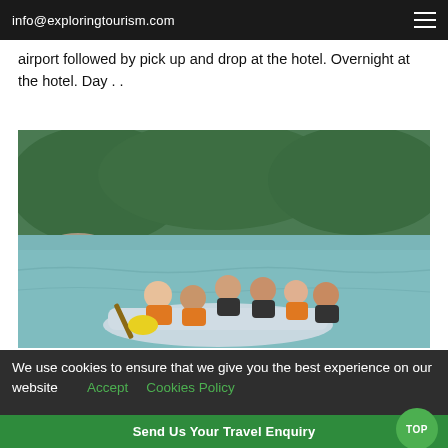info@exploringtourism.com
airport followed by pick up and drop at the hotel. Overnight at the hotel. Day . .
[Figure (photo): Group of people in orange life vests on a river rafting boat, with rocky shores and green forest in the background]
We use cookies to ensure that we give you the best experience on our website  Accept  Cookies Policy
Send Us Your Travel Enquiry